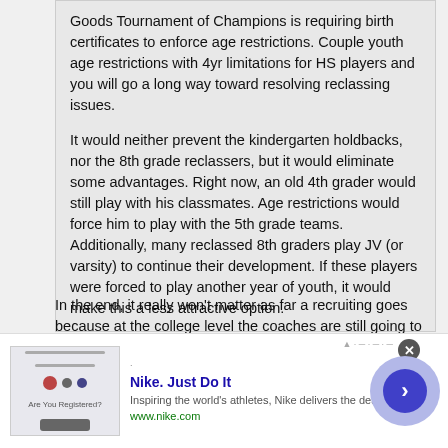Goods Tournament of Champions is requiring birth certificates to enforce age restrictions. Couple youth age restrictions with 4yr limitations for HS players and you will go a long way toward resolving reclassing issues.

It would neither prevent the kindergarten holdbacks, nor the 8th grade reclassers, but it would eliminate some advantages. Right now, an old 4th grader would still play with his classmates. Age restrictions would force him to play with the 5th grade teams. Additionally, many reclassed 8th graders play JV (or varsity) to continue their development. If these players were forced to play another year of youth, it would make this a less attractive option.
In the end, it really won't matter as far a recruiting goes because at the college level the coaches are still going to recruit the oldest players for their freshman class. Additionally, I will predict tha...
[Figure (other): Nike advertisement banner at bottom of page. Shows Nike logo image area, bold blue title 'Nike. Just Do It', description 'Inspiring the world's athletes, Nike delivers the deals', green URL 'www.nike.com', a circular blue arrow button on the right, and a close (X) button.]